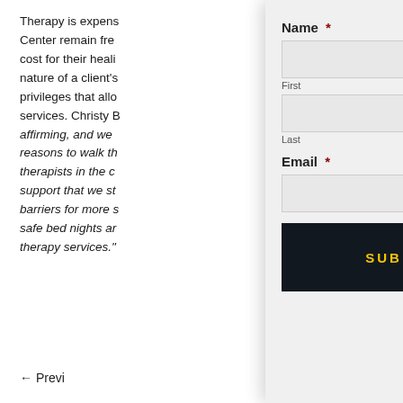Therapy is expens... Center remain fre... cost for their heali... nature of a client's... privileges that allo... services. Christy B... affirming, and we... reasons to walk th... therapists in the c... support that we st... barriers for more s... safe bed nights ar... therapy services."
CLOSE
Name *
First
Last
Email *
SUBMIT
← Previ